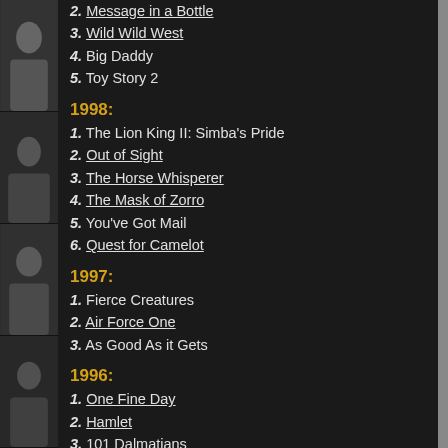2. Message in a Bottle
3. Wild Wild West
4. Big Daddy
5. Toy Story 2
1998:
1. The Lion King II: Simba's Pride
2. Out of Sight
3. The Horse Whisperer
4. The Mask of Zorro
5. You've Got Mail
6. Quest for Camelot
1997:
1. Fierce Creatures
2. Air Force One
3. As Good As it Gets
1996:
1. One Fine Day
2. Hamlet
3. 101 Dalmatians
4. Tin Cup
5. Looking for Richard
1995: